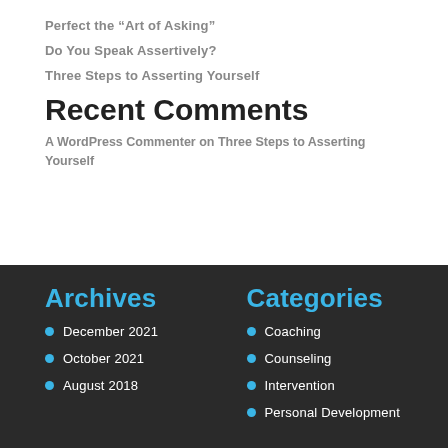Perfect the “Art of Asking”
Do You Speak Assertively?
Three Steps to Asserting Yourself
Recent Comments
A WordPress Commenter on Three Steps to Asserting Yourself
Archives
Categories
December 2021
Coaching
October 2021
Counseling
August 2018
Intervention
Personal Development